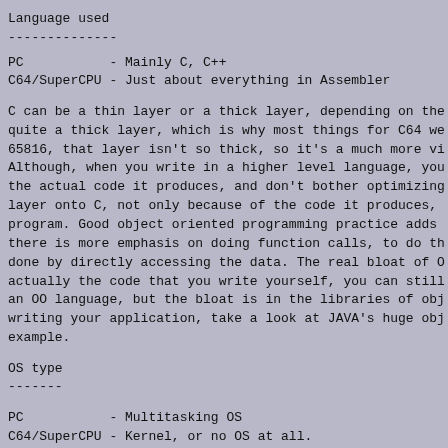Language used
--------------
PC           - Mainly C, C++
C64/SuperCPU - Just about everything in Assembler
C can be a thin layer or a thick layer, depending on the
quite a thick layer, which is why most things for C64 we
65816, that layer isn't so thick, so it's a much more vi
Although, when you write in a higher level language, you
the actual code it produces, and don't bother optimizing
layer onto C, not only because of the code it produces,
program. Good object oriented programming practice adds
there is more emphasis on doing function calls, to do th
done by directly accessing the data. The real bloat of O
actually the code that you write yourself, you can still
an OO language, but the bloat is in the libraries of obj
writing your application, take a look at JAVA's huge obj
example.
OS type
-------
PC           - Multitasking OS
C64/SuperCPU - Kernel, or no OS at all.
A multitasking OS adds some layers by default, since it
processes. The OS isn't just the task switcher however,
needed to run applications, such as device drivers and s
opinion, absolutely none or as little as possible of the
a high level language, since it's going to be used by ev